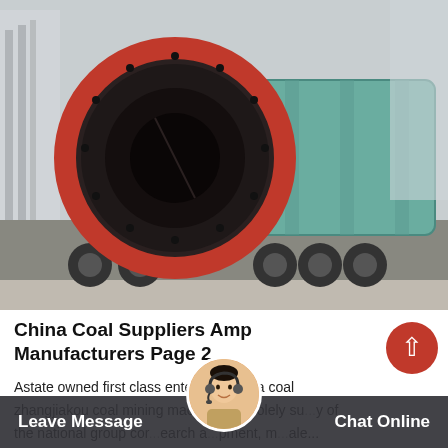[Figure (photo): Large industrial ball mill or rotary drum machine mounted on a truck/trailer, with red circular end cap and teal/green cylindrical body, person standing next to it for scale, industrial facility in background]
China Coal Suppliers Amp Manufacturers Page 2
Astate owned first class enterprise china coal zhangjiakou coal mining machinery is solely su...ly of the national group cor...earch a...pment, m...ale...
Leave Message   Chat Online